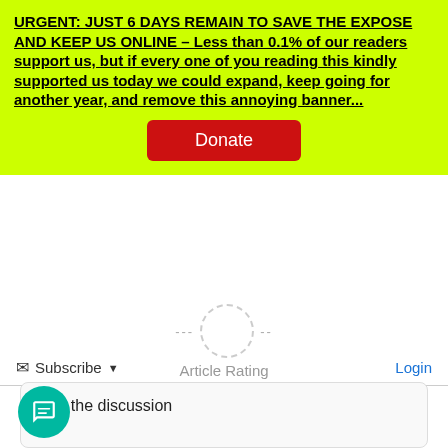URGENT: JUST 6 DAYS REMAIN TO SAVE THE EXPOSE AND KEEP US ONLINE – Less than 0.1% of our readers support us, but if every one of you reading this kindly supported us today we could expand, keep going for another year, and remove this annoying banner...
Donate
Article Rating
★★★★★
Subscribe ▾
Login
Join the discussion
35